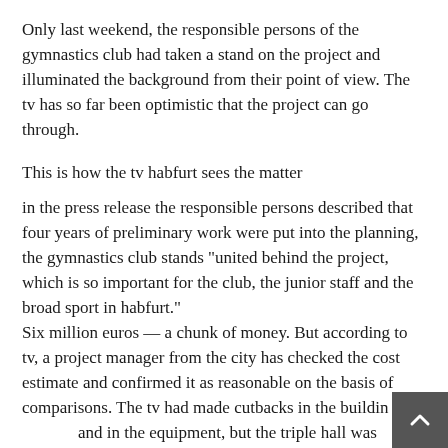Only last weekend, the responsible persons of the gymnastics club had taken a stand on the project and illuminated the background from their point of view. The tv has so far been optimistic that the project can go through.
This is how the tv habfurt sees the matter
in the press release the responsible persons described that four years of preliminary work were put into the planning, the gymnastics club stands "united behind the project, which is so important for the club, the junior staff and the broad sport in habfurt." Six million euros — a chunk of money. But according to tv, a project manager from the city has checked the cost estimate and confirmed it as reasonable on the basis of comparisons. The tv had made cutbacks in the building and in the equipment, but the triple hall was important. The need is there, as those responsible at the tv